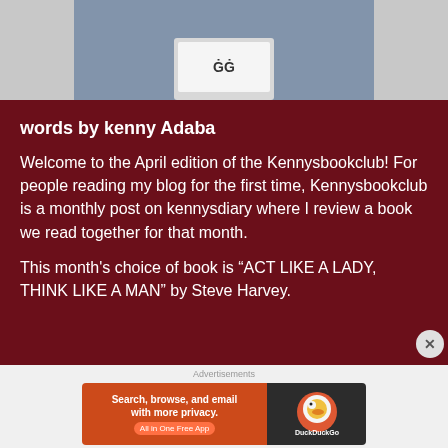[Figure (photo): Partial photo of a person using a laptop, only the top portion visible showing the laptop and some background]
words by kenny Adaba
Welcome to the April edition of the Kennysbookclub! For people reading my blog for the first time, Kennysbookclub is a monthly post on kennysdiary where I review a book we read together for that month.
This month's choice of book is “ACT LIKE A LADY, THINK LIKE A MAN” by Steve Harvey.
[Figure (screenshot): DuckDuckGo advertisement banner: Search, browse, and email with more privacy. All in One Free App. DuckDuckGo logo on right side.]